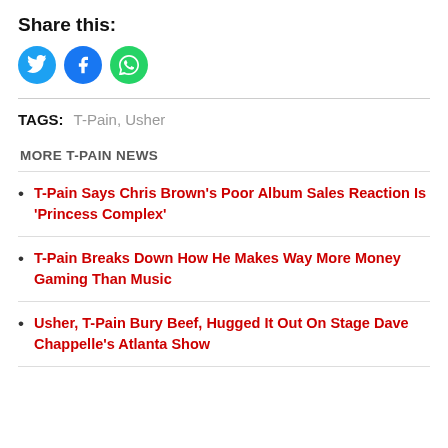Share this:
[Figure (illustration): Three social media share buttons: Twitter (blue circle with bird icon), Facebook (blue circle with f icon), WhatsApp (green circle with phone/message icon)]
TAGS: T-Pain, Usher
MORE T-PAIN NEWS
T-Pain Says Chris Brown's Poor Album Sales Reaction Is 'Princess Complex'
T-Pain Breaks Down How He Makes Way More Money Gaming Than Music
Usher, T-Pain Bury Beef, Hugged It Out On Stage Dave Chappelle's Atlanta Show